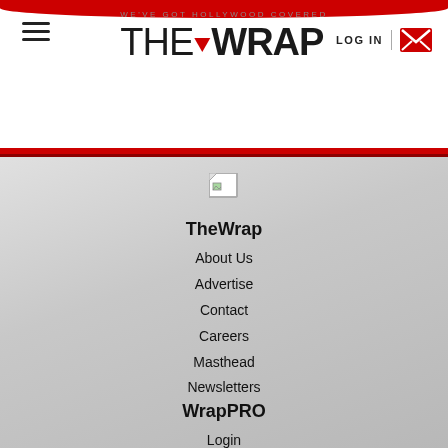[Figure (logo): TheWrap logo with tagline WE'VE GOT HOLLYWOOD COVERED, hamburger menu icon, LOG IN text, and email envelope icon in header]
[Figure (illustration): Small broken/placeholder image icon in footer area]
TheWrap
About Us
Advertise
Contact
Careers
Masthead
Newsletters
WrapPRO
Login
Subscribe